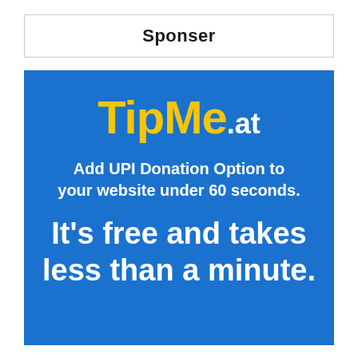Sponser
[Figure (illustration): TipMe.at advertisement banner on blue background. Shows logo 'TipMe.at' in yellow and white, tagline 'Add UPI Donation Option to your website under 60 seconds.' and large text 'It's free and takes less than a minute.']